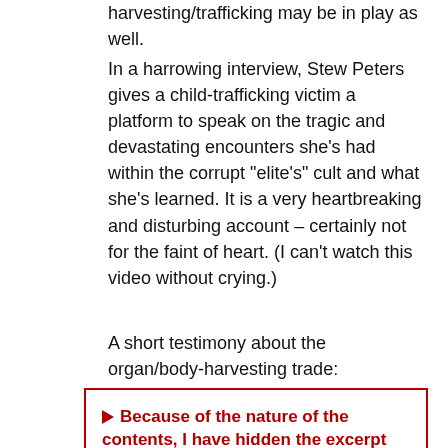harvesting/trafficking may be in play as well.
In a harrowing interview, Stew Peters gives a child-trafficking victim a platform to speak on the tragic and devastating encounters she’s had within the corrupt “elite’s” cult and what she’s learned. It is a very heartbreaking and disturbing account – certainly not for the faint of heart. (I can’t watch this video without crying.)
A short testimony about the organ/body-harvesting trade:
▶ Because of the nature of the contents, I have hidden the excerpt under this tab. Please be aware that it is GRAPHIC AND DISTURBING, should you choose to read it